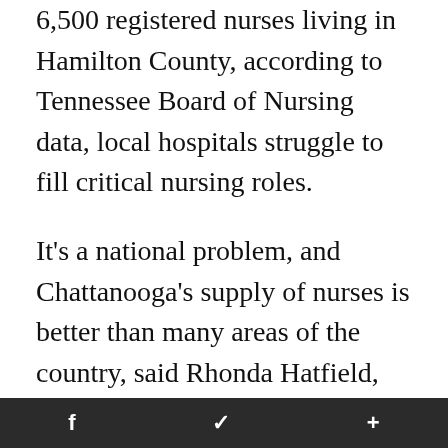6,500 registered nurses living in Hamilton County, according to Tennessee Board of Nursing data, local hospitals struggle to fill critical nursing roles.
It's a national problem, and Chattanooga's supply of nurses is better than many areas of the country, said Rhonda Hatfield, chief nursing officer at CHI Memorial. However, several factors, including an aging workforce, near record low unemployment, competition between hospitals, insurance companies, ambulatory surgery centers and physician practices both locally and in nearby Nashville
f   •   🐦   •   +